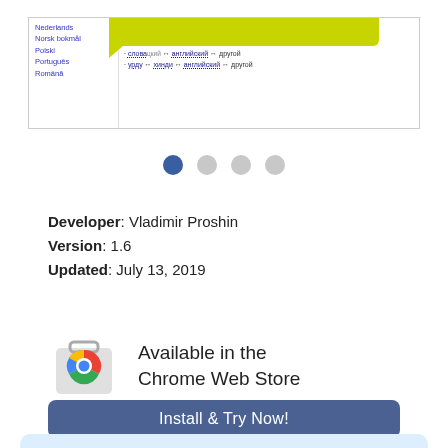[Figure (screenshot): Screenshot of a browser extension UI showing a language list sidebar (Nederlands, Norsk bokmål, Polski, Português, Română) and a yellow-green tooltip/callout with Cyrillic text lines showing translation paths: словацкий → английский → другой, урду → хинди → английский → другой]
[Figure (other): Four pagination dots: first is dark blue (active), remaining three are light gray (inactive)]
Developer: Vladimir Proshin
Version: 1.6
Updated: July 13, 2019
[Figure (logo): Chrome Web Store logo with Chrome icon and text: Available in the Chrome Web Store]
Install & Try Now!